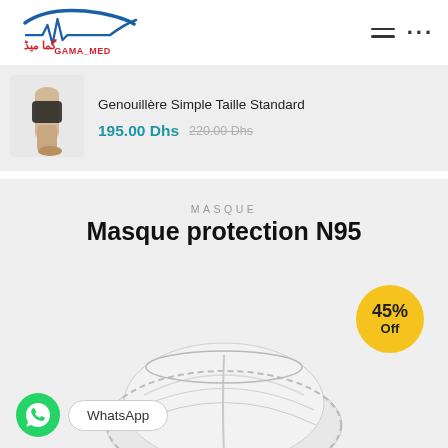[Figure (logo): GAMA_MED logo with Arabic text and EKG line graphic in blue and red]
[Figure (photo): Product photo showing knee brace worn on a person's leg]
Genouillère Simple Taille Standard
195.00 Dhs  220.00 Dhs
MASQUE
Masque protection N95
[Figure (photo): N95 protective face mask, white, shown partially from below, with 45% Off badge]
WhatsApp